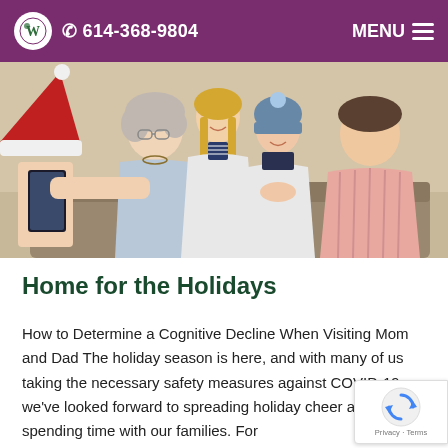614-368-9804  MENU
[Figure (photo): Family holiday photo: elderly woman, teenage girl, young girl, and adult man sitting together on a couch, being photographed by someone wearing a Santa hat holding a smartphone]
Home for the Holidays
How to Determine a Cognitive Decline When Visiting Mom and Dad The holiday season is here, and with many of us taking the necessary safety measures against COVID-19, we've looked forward to spreading holiday cheer and spending time with our families. For